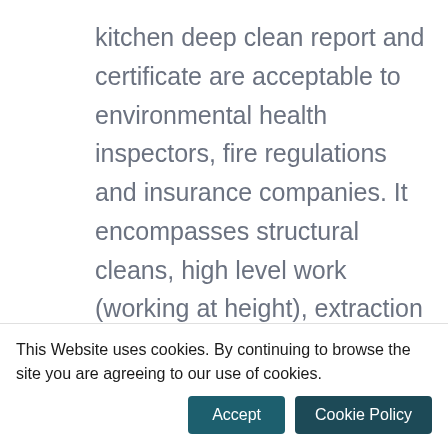kitchen deep clean report and certificate are acceptable to environmental health inspectors, fire regulations and insurance companies. It encompasses structural cleans, high level work (working at height), extraction systems, hot cooking equipment, ancillary equipment, floors and complete deep kitchen cleans.

Another point to note is that we
This Website uses cookies. By continuing to browse the site you are agreeing to our use of cookies. [Accept] [Cookie Policy]